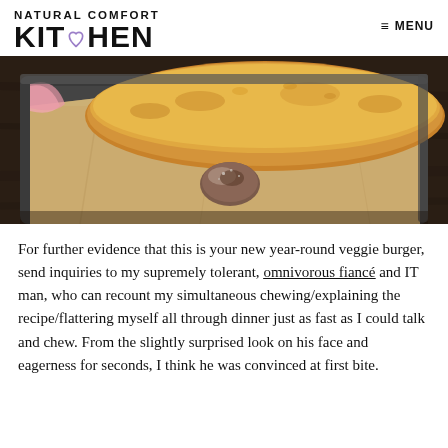NATURAL COMFORT KITCHEN ≡ MENU
[Figure (photo): Close-up photo of a golden-brown baked veggie burger on parchment paper in a baking tray, with a fallen olive or mushroom on the paper in the foreground.]
For further evidence that this is your new year-round veggie burger, send inquiries to my supremely tolerant, omnivorous fiancé and IT man, who can recount my simultaneous chewing/explaining the recipe/flattering myself all through dinner just as fast as I could talk and chew. From the slightly surprised look on his face and eagerness for seconds, I think he was convinced at first bite.